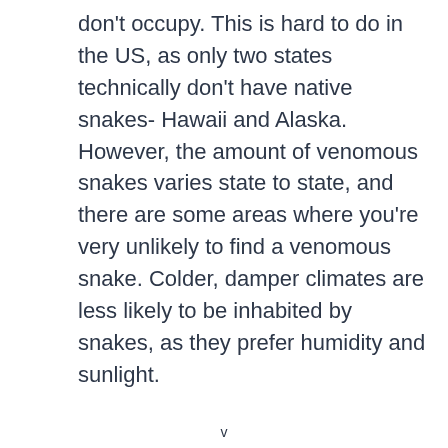don't occupy. This is hard to do in the US, as only two states technically don't have native snakes- Hawaii and Alaska. However, the amount of venomous snakes varies state to state, and there are some areas where you're very unlikely to find a venomous snake. Colder, damper climates are less likely to be inhabited by snakes, as they prefer humidity and sunlight.
v